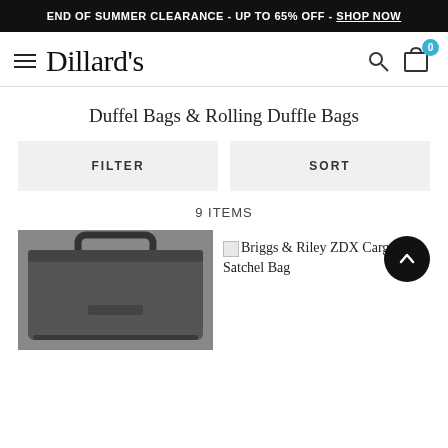END OF SUMMER CLEARANCE - UP TO 65% OFF - SHOP NOW
[Figure (logo): Dillard's logo with hamburger menu, search icon, and cart icon with badge showing 0]
Duffel Bags & Rolling Duffle Bags
FILTER
SORT
9 ITEMS
Briggs & Riley ZDX Cargo Satchel Bag
[Figure (photo): Black duffel bag / cargo satchel bag shown from above, partially visible]